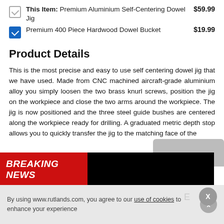This Item: Premium Aluminium Self-Centering Dowel Jig — $59.99
Premium 400 Piece Hardwood Dowel Bucket — $19.99
Product Details
This is the most precise and easy to use self centering dowel jig that we have used. Made from CNC machined aircraft-grade aluminium alloy you simply loosen the two brass knurl screws, position the jig on the workpiece and close the two arms around the workpiece. The jig is now positioned and the three steel guide bushes are centered along the workpiece ready for drilling. A graduated metric depth stop allows you to quickly transfer the jig to the matching face of the
BREAKING NEWS
By using www.rutlands.com, you agree to our use of cookies to enhance your experience